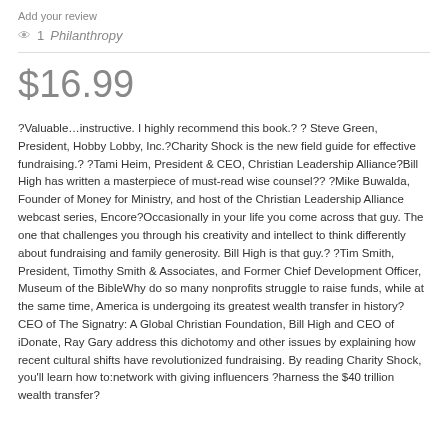Add your review
1   Philanthropy
$16.99
?Valuable…instructive. I highly recommend this book.? ? Steve Green, President, Hobby Lobby, Inc.?Charity Shock is the new field guide for effective fundraising.? ?Tami Heim, President & CEO, Christian Leadership Alliance?Bill High has written a masterpiece of must-read wise counsel?? ?Mike Buwalda, Founder of Money for Ministry, and host of the Christian Leadership Alliance webcast series, Encore?Occasionally in your life you come across that guy. The one that challenges you through his creativity and intellect to think differently about fundraising and family generosity. Bill High is that guy.? ?Tim Smith, President, Timothy Smith & Associates, and Former Chief Development Officer, Museum of the BibleWhy do so many nonprofits struggle to raise funds, while at the same time, America is undergoing its greatest wealth transfer in history? CEO of The Signatry: A Global Christian Foundation, Bill High and CEO of iDonate, Ray Gary address this dichotomy and other issues by explaining how recent cultural shifts have revolutionized fundraising. By reading Charity Shock, you'll learn how to:network with giving influencers ?harness the $40 trillion wealth transfer?